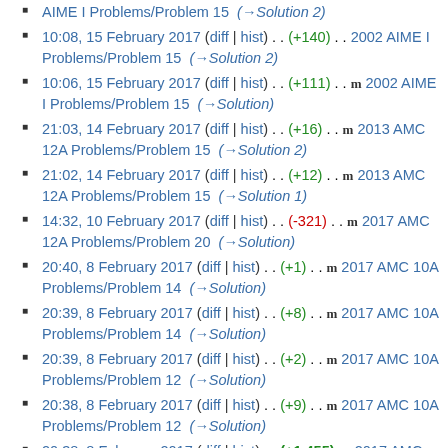AIME I Problems/Problem 15 (→Solution 2) [partial top]
10:08, 15 February 2017 (diff | hist) . . (+140) . . 2002 AIME I Problems/Problem 15 (→Solution 2)
10:06, 15 February 2017 (diff | hist) . . (+111) . . m 2002 AIME I Problems/Problem 15 (→Solution)
21:03, 14 February 2017 (diff | hist) . . (+16) . . m 2013 AMC 12A Problems/Problem 15 (→Solution 2)
21:02, 14 February 2017 (diff | hist) . . (+12) . . m 2013 AMC 12A Problems/Problem 15 (→Solution 1)
14:32, 10 February 2017 (diff | hist) . . (-321) . . m 2017 AMC 12A Problems/Problem 20 (→Solution)
20:40, 8 February 2017 (diff | hist) . . (+1) . . m 2017 AMC 10A Problems/Problem 14 (→Solution)
20:39, 8 February 2017 (diff | hist) . . (+8) . . m 2017 AMC 10A Problems/Problem 14 (→Solution)
20:39, 8 February 2017 (diff | hist) . . (+2) . . m 2017 AMC 10A Problems/Problem 12 (→Solution)
20:38, 8 February 2017 (diff | hist) . . (+9) . . m 2017 AMC 10A Problems/Problem 12 (→Solution)
20:38, 8 February 2017 (diff | hist) . . (+1,455) . . 2017 AMC 10A Problems/Problem 12 (→Solution)
20:27, 8 February 2017 (diff | hist) . . (-11) . . 2017 AMC [partial bottom]